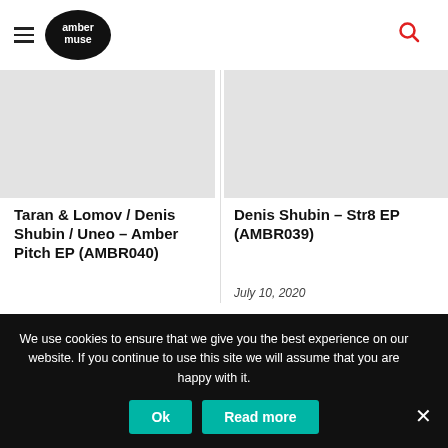amber muse
[Figure (illustration): Gray placeholder image for Taran & Lomov / Denis Shubin / Uneo – Amber Pitch EP card]
Taran & Lomov / Denis Shubin / Uneo – Amber Pitch EP (AMBR040)
December 9, 2020
[Figure (illustration): Gray placeholder image for Denis Shubin – Str8 EP card]
Denis Shubin – Str8 EP (AMBR039)
July 10, 2020
We use cookies to ensure that we give you the best experience on our website. If you continue to use this site we will assume that you are happy with it.